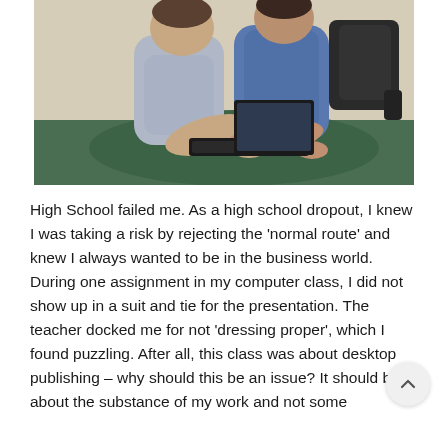[Figure (photo): Two people sitting together in an office setting, both working on a laptop computer. One person is in a blue shirt, the other in a blue/grey striped shirt. There is a black office chair visible in the background and a green surface they are seated on.]
High School failed me. As a high school dropout, I knew I was taking a risk by rejecting the 'normal route' and knew I always wanted to be in the business world. During one assignment in my computer class, I did not show up in a suit and tie for the presentation. The teacher docked me for not 'dressing proper', which I found puzzling. After all, this class was about desktop publishing – why should this be an issue? It should be about the substance of my work and not some